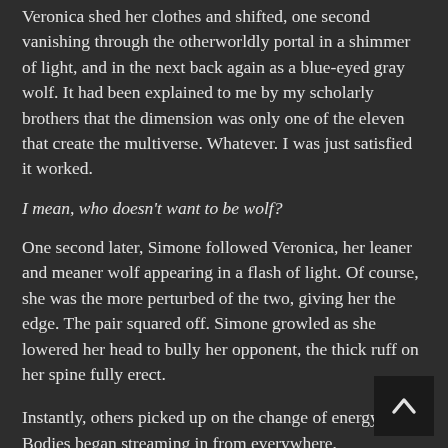Veronica shed her clothes and shifted, one second vanishing through the otherworldly portal in a shimmer of light, and in the next back again as a blue-eyed gray wolf. It had been explained to me by my scholarly brothers that the dimension was only one of the eleven that create the multiverse. Whatever. I was just satisfied it worked.
I mean, who doesn't want to be wolf?
One second later, Simone followed Veronica, her leaner and meaner wolf appearing in a flash of light. Of course, she was the more perturbed of the two, giving her the edge. The pair squared off. Simone growled as she lowered her head to bully her opponent, the thick ruff on her spine fully erect.
Instantly, others picked up on the change of energy. Bodies began streaming in from everywhere,